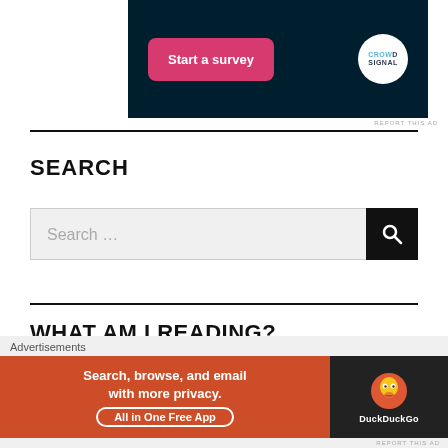[Figure (screenshot): Dark navy ad banner with 'Start a survey' pink button and Crowdsignal circular logo on white background]
REPORT THIS AD
SEARCH
[Figure (screenshot): Search bar with gray input field showing 'Search ...' placeholder and black search button with magnifier icon]
WHAT AM I READING?
Advertisements
[Figure (screenshot): DuckDuckGo advertisement: 'Search, browse, and email with more privacy. All in One Free App' on orange background with DuckDuckGo logo on dark background]
REPORT THIS AD